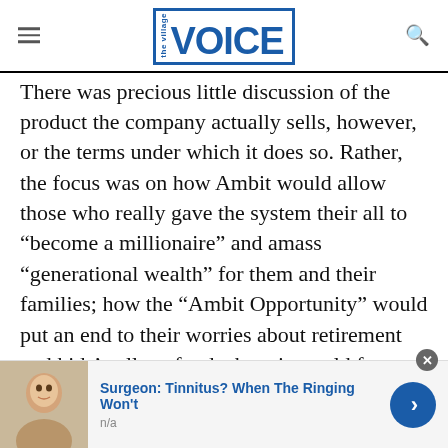the Village VOICE
There was precious little discussion of the product the company actually sells, however, or the terms under which it does so. Rather, the focus was on how Ambit would allow those who really gave the system their all to “become a millionaire” and amass “generational wealth” for them and their families; how the “Ambit Opportunity” would put an end to their worries about retirement and kids’ college funds; how it would free them from their dead-end jobs.
[Figure (other): Advertisement banner: photo of a person, headline 'Surgeon: Tinnitus? When The Ringing Won’t', subtext 'n/a', with a blue arrow button and close (x) button.]